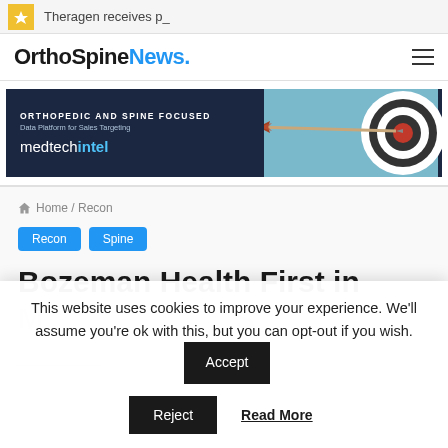Theragen receives p_
OrthoSpineNews.
[Figure (screenshot): MedTechIntel advertisement banner: Orthopedic and Spine Focused Data Platform for Sales Targeting, medtechintel logo, with arrow hitting bullseye target on right side]
Home / Recon
Recon  Spine
Bozeman Health First in
This website uses cookies to improve your experience. We'll assume you're ok with this, but you can opt-out if you wish.
Accept
Reject
Read More